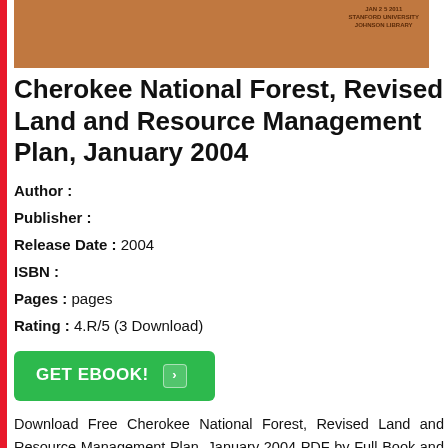[Figure (photo): Book cover image with brown/tan background and a library stamp in the upper right reading 'JAN 2 5 2011 STANFORD UNIVERSITY JOHNSON LIBRARY']
Cherokee National Forest, Revised Land and Resource Management Plan, January 2004
Author :
Publisher :
Release Date : 2004
ISBN :
Pages : pages
Rating : 4.R/5 (3 Download)
[Figure (other): Green GET EBOOK! button with arrow icon]
Download Free Cherokee National Forest, Revised Land and Resource Management Plan, January 2004 PDF by Full Book and published by . This book was released on 2004 with total page pages. Available in PDF, EPUB and Kindle. Book excerpt: